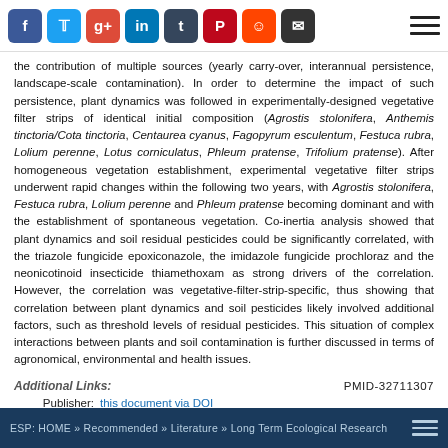Social share icons and navigation menu
the contribution of multiple sources (yearly carry-over, interannual persistence, landscape-scale contamination). In order to determine the impact of such persistence, plant dynamics was followed in experimentally-designed vegetative filter strips of identical initial composition (Agrostis stolonifera, Anthemis tinctoria/Cota tinctoria, Centaurea cyanus, Fagopyrum esculentum, Festuca rubra, Lolium perenne, Lotus corniculatus, Phleum pratense, Trifolium pratense). After homogeneous vegetation establishment, experimental vegetative filter strips underwent rapid changes within the following two years, with Agrostis stolonifera, Festuca rubra, Lolium perenne and Phleum pratense becoming dominant and with the establishment of spontaneous vegetation. Co-inertia analysis showed that plant dynamics and soil residual pesticides could be significantly correlated, with the triazole fungicide epoxiconazole, the imidazole fungicide prochloraz and the neonicotinoid insecticide thiamethoxam as strong drivers of the correlation. However, the correlation was vegetative-filter-strip-specific, thus showing that correlation between plant dynamics and soil pesticides likely involved additional factors, such as threshold levels of residual pesticides. This situation of complex interactions between plants and soil contamination is further discussed in terms of agronomical, environmental and health issues.
Additional Links: PMID-32711307
Publisher: this document via DOI
PubMed: this document | related | cited-by
Google: search Google Scholar on this document's title
Citation: show bibtex listing
MeSH Terms: show MeSH Terms
ESP: HOME » Recommended » Literature » Long Term Ecological Research